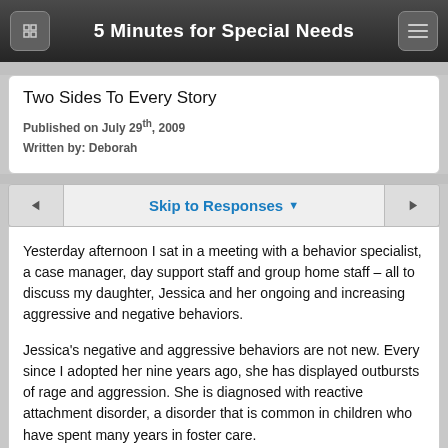5 Minutes for Special Needs
Two Sides To Every Story
Published on July 29th, 2009
Written by: Deborah
Skip to Responses
Yesterday afternoon I sat in a meeting with a behavior specialist, a case manager, day support staff and group home staff – all to discuss my daughter, Jessica and her ongoing and increasing aggressive and negative behaviors.
Jessica's negative and aggressive behaviors are not new. Every since I adopted her nine years ago, she has displayed outbursts of rage and aggression. She is diagnosed with reactive attachment disorder, a disorder that is common in children who have spent many years in foster care.
While in foster care for 9 years, she learned that trusting and attaching to adults more often than not resulted in emotional and physical pain. Her anger starts from frustration and...